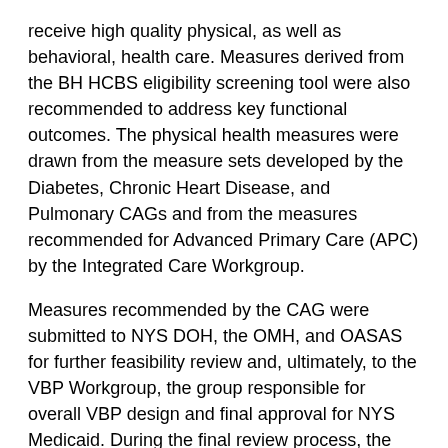receive high quality physical, as well as behavioral, health care. Measures derived from the BH HCBS eligibility screening tool were also recommended to address key functional outcomes. The physical health measures were drawn from the measure sets developed by the Diabetes, Chronic Heart Disease, and Pulmonary CAGs and from the measures recommended for Advanced Primary Care (APC) by the Integrated Care Workgroup.
Measures recommended by the CAG were submitted to NYS DOH, the OMH, and OASAS for further feasibility review and, ultimately, to the VBP Workgroup, the group responsible for overall VBP design and final approval for NYS Medicaid. During the final review process, the HARP VBP measure set was aligned with existing Delivery System Reform Incentive Payment (DSRIP) Program and Quality Assurance Reporting Requirements (QARR) measures, and measures utilized by Medicare and Commercial programs in NYS, where appropriate. The measures were further